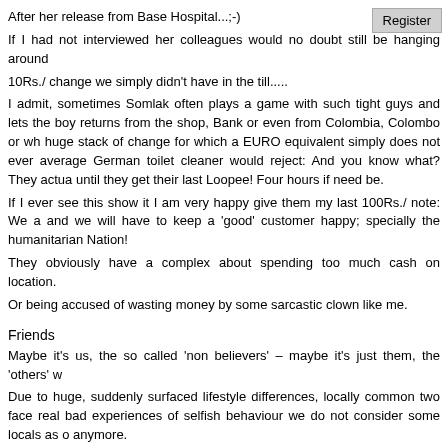After her release from Base Hospital...;-)
If I had not interviewed her colleagues would no doubt still be hanging around
10Rs./ change we simply didn't have in the till.....
I admit, sometimes Somlak often plays a game with such tight guys and lets the boy returns from the shop, Bank or even from Colombia, Colombo or wh huge stack of change for which a EURO equivalent simply does not ever average German toilet cleaner would reject: And you know what? They actua until they get their last Loopee! Four hours if need be.
If I ever see this show it I am very happy give them my last 100Rs./ note: We a and we will have to keep a 'good' customer happy; specially the humanitarian Nation!
They obviously have a complex about spending too much cash on location.
Or being accused of wasting money by some sarcastic clown like me.
Friends
Maybe it's us, the so called 'non believers' – maybe it's just them, the 'others' w
Due to huge, suddenly surfaced lifestyle differences, locally common two face real bad experiences of selfish behaviour we do not consider some locals as o anymore.
We are happy to report, however, that during 2006 a much better understand respect has developed between all but one of the Expats in town and also